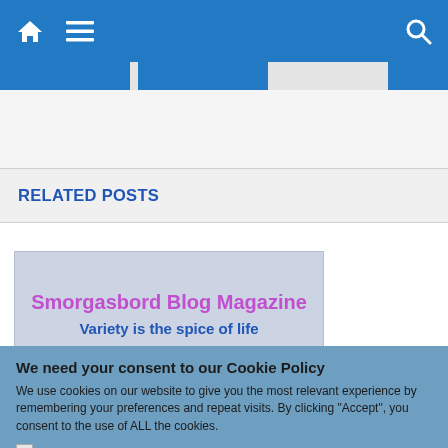Navigation bar with home icon, menu icon, and search icon
RELATED POSTS
[Figure (screenshot): Blog card image with purple/lavender background showing 'Smorgasbord Blog Magazine' in magenta/purple text and 'Variety is the spice of life' in blue bold text]
We need your consent to our Cookie Policy

We use cookies on our website to give you the most relevant experience by remembering your preferences and repeat visits. By clicking "Accept", you consent to the use of ALL the cookies.

☐ Do not sell my personal information.

[Cookie Settings] [Accept]